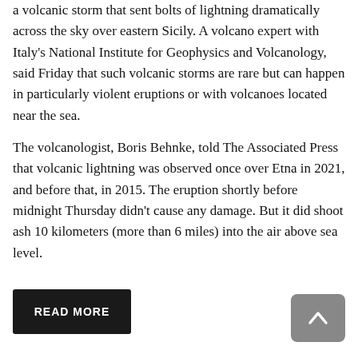a volcanic storm that sent bolts of lightning dramatically across the sky over eastern Sicily. A volcano expert with Italy's National Institute for Geophysics and Volcanology, said Friday that such volcanic storms are rare but can happen in particularly violent eruptions or with volcanoes located near the sea.
The volcanologist, Boris Behnke, told The Associated Press that volcanic lightning was observed once over Etna in 2021, and before that, in 2015. The eruption shortly before midnight Thursday didn't cause any damage. But it did shoot ash 10 kilometers (more than 6 miles) into the air above sea level.
READ MORE